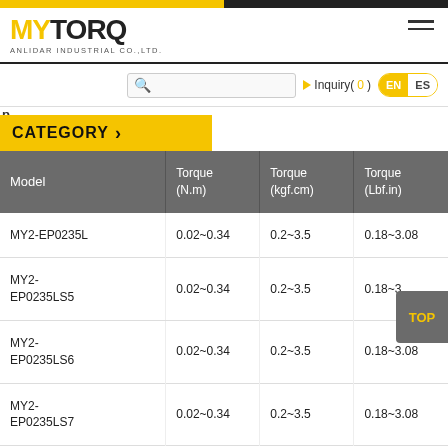[Figure (logo): MYTORQ ANLIDAR INDUSTRIAL CO.,LTD. logo with yellow MY and black TORQ text]
CATEGORY >
| Model | Torque (N.m) | Torque (kgf.cm) | Torque (Lbf.in) |
| --- | --- | --- | --- |
| MY2-EP0235L | 0.02~0.34 | 0.2~3.5 | 0.18~3.08 |
| MY2-EP0235LS5 | 0.02~0.34 | 0.2~3.5 | 0.18~3.08 |
| MY2-EP0235LS6 | 0.02~0.34 | 0.2~3.5 | 0.18~3.08 |
| MY2-EP0235LS7 | 0.02~0.34 | 0.2~3.5 | 0.18~3.08 |